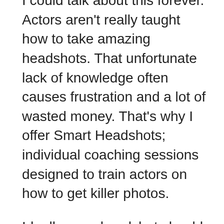I could talk about this forever. Actors aren't really taught how to take amazing headshots. That unfortunate lack of knowledge often causes frustration and a lot of wasted money. That's why I offer Smart Headshots; individual coaching sessions designed to train actors on how to get killer photos.
Ideally, your headshot should represent you clearly as an actor. Simple. They also indicate how you are best cast. If your pictures are on point, it suggests you understand how casting and others will see you.
Most pictures are too general. Actors often believe that there are only two kinds of photos. One of them smiling aka “the commercial one”. Another one where they are serious aka “the theatrical one.”
Truly awesome headshots have elements of great